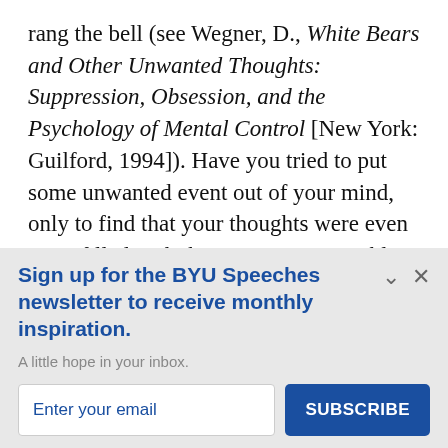rang the bell (see Wegner, D., White Bears and Other Unwanted Thoughts: Suppression, Obsession, and the Psychology of Mental Control [New York: Guilford, 1994]). Have you tried to put some unwanted event out of your mind, only to find that your thoughts were even more filled with the event? It is possible that over time our
Sign up for the BYU Speeches newsletter to receive monthly inspiration.
A little hope in your inbox.
Enter your email
SUBSCRIBE